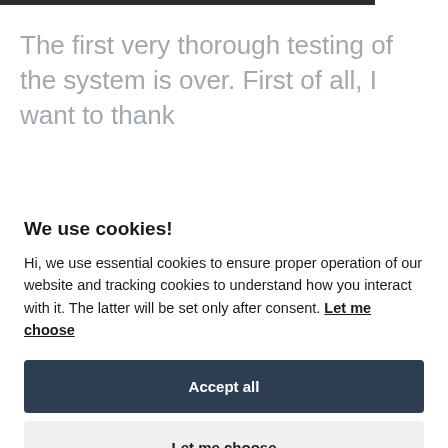The first very thorough testing of the system is over. First of all, I want to thank
We use cookies!
Hi, we use essential cookies to ensure proper operation of our website and tracking cookies to understand how you interact with it. The latter will be set only after consent. Let me choose
Accept all
Let me choose